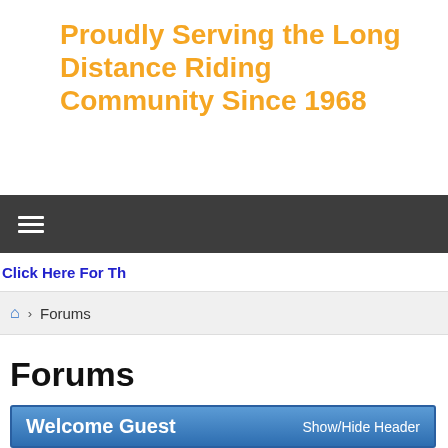Proudly Serving the Long Distance Riding Community Since 1968
≡ (navigation menu bar)
Click Here For Th
🏠 › Forums
Forums
Welcome Guest   Show/Hide Header